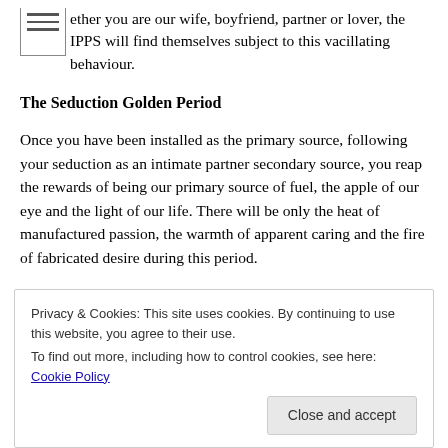Whether you are our wife, boyfriend, partner or lover, the IPPS will find themselves subject to this vacillating behaviour.
The Seduction Golden Period
Once you have been installed as the primary source, following your seduction as an intimate partner secondary source, you reap the rewards of being our primary source of fuel, the apple of our eye and the light of our life. There will be only the heat of manufactured passion, the warmth of apparent caring and the fire of fabricated desire during this period.
During this golden period our fury (which is expanded on below) is in effect capped and therefore does not manifest. This 'capping' occurs for two reasons. The first is that you are supplying us with
Privacy & Cookies: This site uses cookies. By continuing to use this website, you agree to their use.
To find out more, including how to control cookies, see here: Cookie Policy
Close and accept